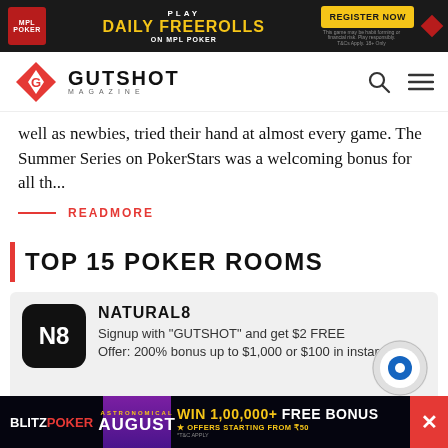[Figure (infographic): MPL Poker top ad banner: Play Daily Freerolls on MPL Poker, Register Now button]
GUTSHOT MAGAZINE
well as newbies, tried their hand at almost every game. The Summer Series on PokerStars was a welcoming bonus for all th...
READMORE
TOP 15 POKER ROOMS
NATURAL8
Signup with "GUTSHOT" and get $2 FREE
Offer: 200% bonus up to $1,000 or $100 in instant
[Figure (infographic): BlitzPoker bottom ad banner: Astronomical August, Win 1,00,000 + Free Bonus, Offers Starting From ₹50]